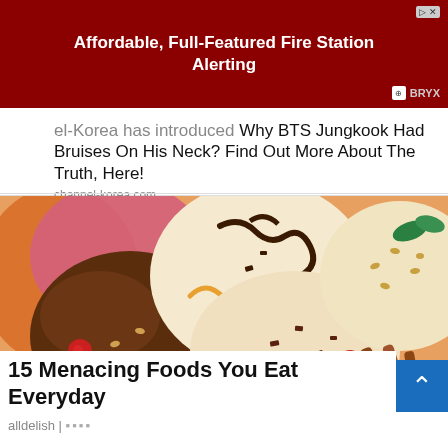Affordable, Full-Featured Fire Station Alerting | BRYX
el-Korea has introduced Why BTS Jungkook Had Bruises On His Neck? Find Out More About The Truth, Here!
channel-korea.com
[Figure (photo): Close-up photo of multiple colorful ice cream scoops — chocolate, vanilla, strawberry — garnished with orange peel curls, raspberries, mint leaves, nuts, and cinnamon sticks, with chocolate drizzle on top.]
15 Menacing Foods You Eat Everyday
alldelish |